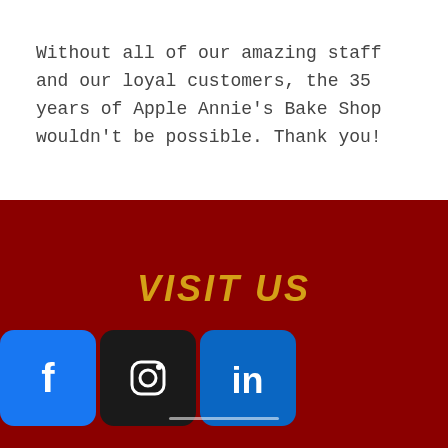Without all of our amazing staff and our loyal customers, the 35 years of Apple Annie's Bake Shop wouldn't be possible. Thank you!
VISIT US
[Figure (other): Three social media icons: Facebook (blue), Instagram (dark/black), LinkedIn (blue)]